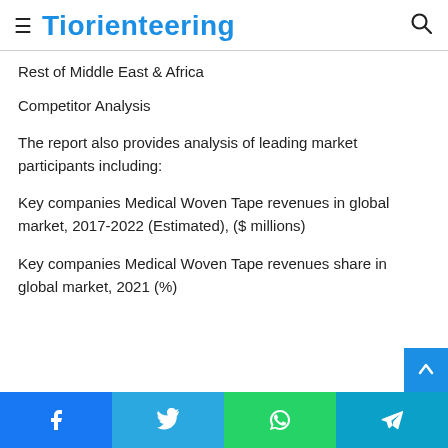Tiorienteering
Rest of Middle East & Africa
Competitor Analysis
The report also provides analysis of leading market participants including:
Key companies Medical Woven Tape revenues in global market, 2017-2022 (Estimated), ($ millions)
Key companies Medical Woven Tape revenues share in global market, 2021 (%)